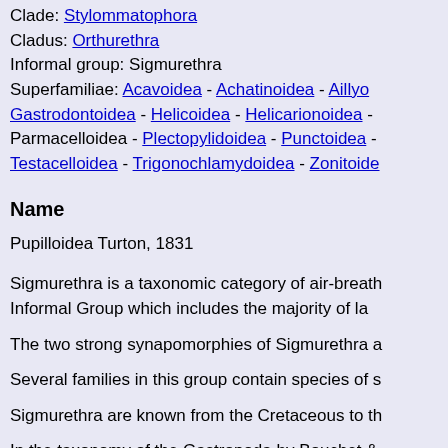Clade: Stylommatophora
Cladus: Orthurethra
Informal group: Sigmurethra
Superfamiliae: Acavoidea - Achatinoidea - Aillyoidea - Gastrodontoidea - Helicoidea - Helicarionoidea - Parmacelloidea - Plectopylidoidea - Punctoidea - Testacelloidea - Trigonochlamydoidea - Zonitoidea
Name
Pupilloidea Turton, 1831
Sigmurethra is a taxonomic category of air-breathing land snails, an Informal Group which includes the majority of land snails.
The two strong synapomorphies of Sigmurethra are...
Several families in this group contain species of snails...
Sigmurethra are known from the Cretaceous to the present.
In the taxonomy of the Gastropoda by Bouchet & Rocroi, 2005, Sigmurethra is part of Stylommatophora.[3]
Taxonomy
Superfamily Clausilioidea